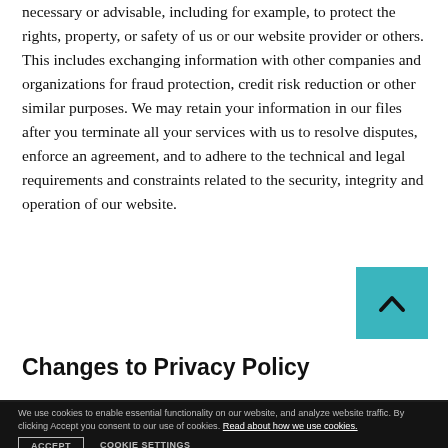necessary or advisable, including for example, to protect the rights, property, or safety of us or our website provider or others. This includes exchanging information with other companies and organizations for fraud protection, credit risk reduction or other similar purposes. We may retain your information in our files after you terminate all your services with us to resolve disputes, enforce an agreement, and to adhere to the technical and legal requirements and constraints related to the security, integrity and operation of our website.
[Figure (other): Teal scroll-to-top button with upward chevron arrow]
Changes to Privacy Policy
Due to the constantly changing nature of our business, we reserve the right to change, update or modify this Privacy Policy at any time at our sole discretion, and will post any new Privacy Policy here. Any such change, update or modification will take effect immediately upon posting on our website. By going to our website or utilizing our
We use cookies to enable essential functionality on our website, and analyze website traffic. By clicking Accept you consent to our use of cookies. Read about how we use cookies.
ACCEPT    COOKIE SETTINGS